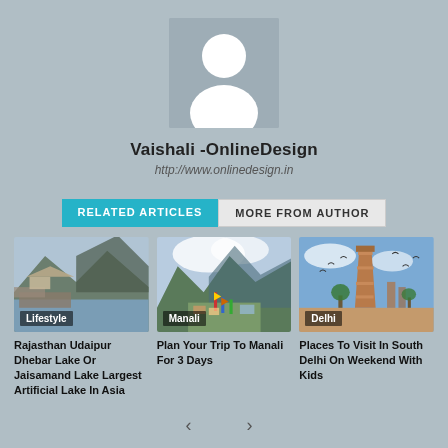[Figure (illustration): User avatar placeholder icon — white person silhouette on grey background]
Vaishali -OnlineDesign
http://www.onlinedesign.in
RELATED ARTICLES | MORE FROM AUTHOR
[Figure (photo): Rajasthan Udaipur lake landscape with mountains and pavilions, tagged Lifestyle]
Rajasthan Udaipur Dhebar Lake Or Jaisamand Lake Largest Artificial Lake In Asia
[Figure (photo): Manali mountain valley with green hills and clouds, tagged Manali]
Plan Your Trip To Manali For 3 Days
[Figure (photo): Qutub Minar tower in Delhi with birds and blue sky, tagged Delhi]
Places To Visit In South Delhi On Weekend With Kids